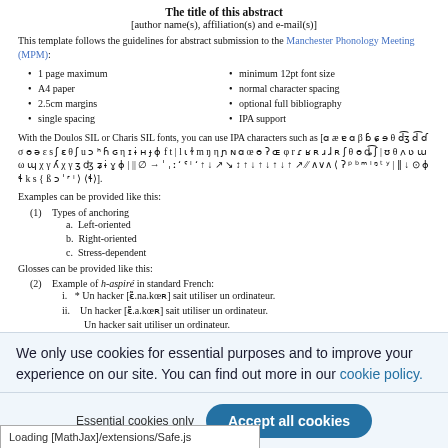The title of this abstract
[author name(s), affiliation(s) and e-mail(s)]
This template follows the guidelines for abstract submission to the Manchester Phonology Meeting (MPM):
1 page maximum
A4 paper
2.5cm margins
single spacing
minimum 12pt font size
normal character spacing
optional full bibliography
IPA support
With the Doulos SIL or Charis SIL fonts, you can use IPA characters such as [a æ ɐ ɑ β ɓ ɕ ɘ θ d͡ʒ d͡ ɗ σ ɵ ə ε s ʃ ɛ θ ʃ u ɔ ʰ ɦ ɢ η ɪ ɨ ʜ ɟ ǀ j ɸ f t | l ɩ ɫ m ŋ η ɲ ɴ ɑ œ ɵ ʔ ɶ φ r ɾ ʁ ʀ ɹ ɻ ɺ ʀ ʃ θ ɵ ȡ͡ ʃ | ʊ θ ʌ υ ʋ ɯ ω ɰ χ γ ʎ χ γ ʒ ʤ ʑ ɨ ȳ ɣ ɸ | || ∅ → ˈ ˌ ː ˑ ʻ ˤ ˡ ʻ ↑ ↓ ↗ ↘ ↔ ↕ ↗ ↘ ↑ ↓ ↑ ↓ ɺ ↑ ↗ ∕∕ ∧∨∧ ⟨ ʔ ᵖ ᵇ ᵐ ˡ ᵑ ᵗ ʸ | | ‖ ↓ ⊙ ɸ ɬ ks { ß ɔ ˈ ʳ ˡ ⟩ ⟨ɬ⟩].
Examples can be provided like this:
(1) Types of anchoring
a. Left-oriented
b. Right-oriented
c. Stress-dependent
Glosses can be provided like this:
(2) Example of h-aspiré in standard French:
i. * Un hacker [ɛ̃.na.kœʀ] sait utiliser un ordinateur.
ii. Un hacker [ɛ̃.a.kœʀ] sait utiliser un ordinateur. Un hacker sait utiliser un ordinateur. A hacker can use a computer
Here is how to cite Chomsky (1965: 17) with parentheses around the year (and optionally the page, if provided as argument), (Chomsky 1965: 68) with parentheses around everything, or Chomsky 1965 without parentheses. An author entry {van Beethoven, Ludwig} in references.bib is alphabetically ranked in the bibliography as starting with a B, but the author entry {{van Beethoven}, Ludwig} is ranked as starting with a V (van Beethoven 1824).
We only use cookies for essential purposes and to improve your experience on our site. You can find out more in our cookie policy.
Loading [MathJax]/extensions/Safe.js